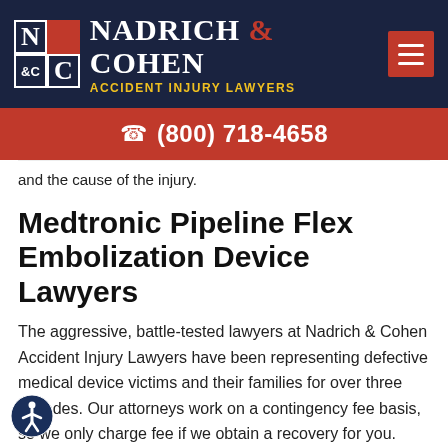[Figure (logo): Nadrich & Cohen Accident Injury Lawyers logo with N&C initials in a grid box and firm name in white and yellow on dark navy background]
(800) 718-4658
and the cause of the injury.
Medtronic Pipeline Flex Embolization Device Lawyers
The aggressive, battle-tested lawyers at Nadrich & Cohen Accident Injury Lawyers have been representing defective medical device victims and their families for over three decades. Our attorneys work on a contingency fee basis, so we only charge fee if we obtain a recovery for you.